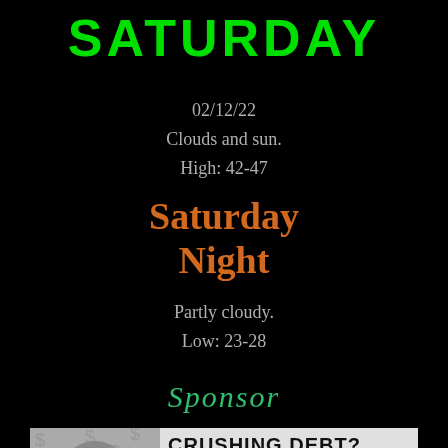SATURDAY
02/12/22
Clouds and sun.
High: 42-47
Saturday Night
Partly cloudy.
Low: 23-28
Sponsor
[Figure (infographic): Advertisement showing a cartoon man crushed under a bag labeled DEBT with dollar signs, text reading CRUSHING DEBT? and BANKRUPTCY]